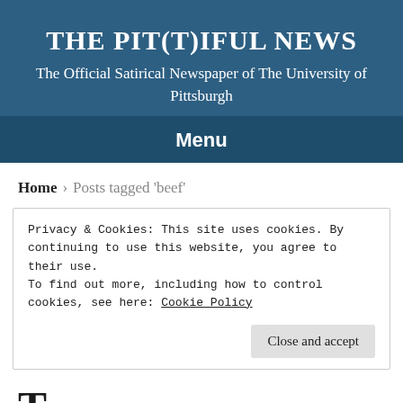THE PIT(T)IFUL NEWS
The Official Satirical Newspaper of The University of Pittsburgh
Menu
Home > Posts tagged 'beef'
Privacy & Cookies: This site uses cookies. By continuing to use this website, you agree to their use.
To find out more, including how to control cookies, see here: Cookie Policy
Close and accept